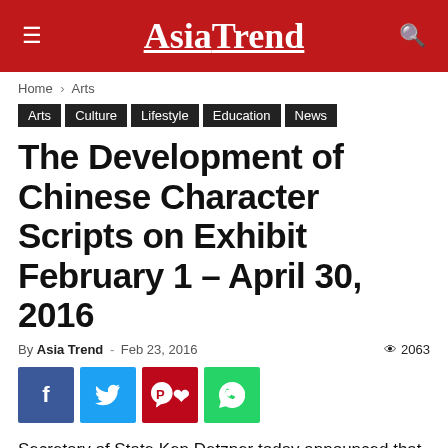AsiaTrend
Home › Arts
Arts | Culture | Lifestyle | Education | News
The Development of Chinese Character Scripts on Exhibit February 1 – April 30, 2016
By Asia Trend - Feb 23, 2016   👁 2063
[Figure (infographic): Social share buttons: Facebook (blue), Twitter (light blue), Pinterest (red), WhatsApp (green)]
Secretary of State Ken Detzner today announced that the Department of State's 22nd Floor Gallery in the State Capitol Building is hosting an exhibition of calligraphic works by Mr.